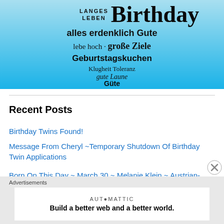[Figure (illustration): Blue gradient birthday word cloud with German birthday wishes: LANGES LEBEN, Birthday, alles erdenklich Gute, lebe hoch, große Ziele, Geburtstagskuchen, Klugheit, Toleranz, gute Laune, Güte]
Recent Posts
Birthday Twins Found!
Message From Cheryl ~Temporary Shutdown Of Birthday Twin Applications
Born On This Day ~ March 30 ~ Melanie Klein ~ Austrian-British Psychoanalyst
Advertisements
[Figure (screenshot): Automattic advertisement: Build a better web and a better world.]